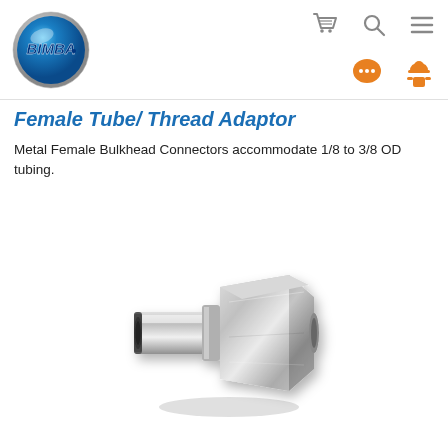[Figure (logo): Bimba logo — blue metallic globe with BIMBA text in blue italic font]
Female Tube/ Thread Adaptor
Metal Female Bulkhead Connectors accommodate 1/8 to 3/8 OD tubing.
[Figure (photo): Metal female tube/thread adapter fitting — nickel-plated brass push-to-connect fitting with hexagonal female threaded end and cylindrical push-in tube end]